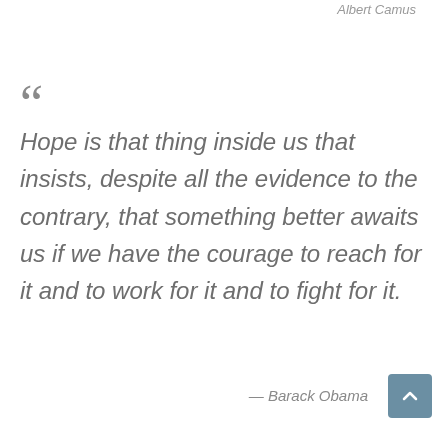Albert Camus
“Hope is that thing inside us that insists, despite all the evidence to the contrary, that something better awaits us if we have the courage to reach for it and to work for it and to fight for it.
— Barack Obama